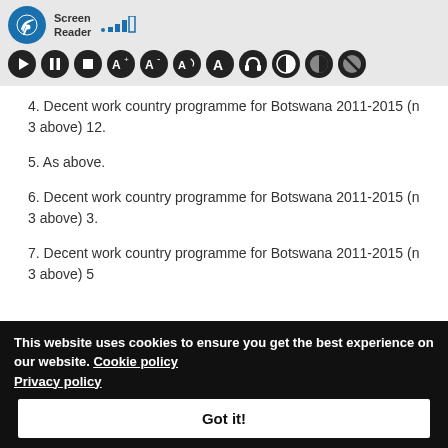[Figure (screenshot): Screen reader toolbar with accessibility icons including play, pause, stop, font size controls, and display settings]
4. Decent work country programme for Botswana 2011-2015 (n 3 above) 12.
5. As above.
6. Decent work country programme for Botswana 2011-2015 (n 3 above) 3.
7. Decent work country programme for Botswana 2011-2015 (n 3 above) 5
This website uses cookies to ensure you get the best experience on our website. Cookie policy Privacy policy
Got it!